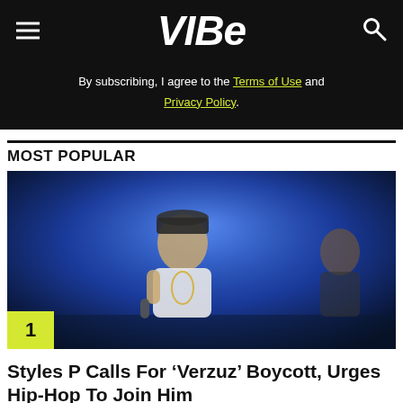VIBE
By subscribing, I agree to the Terms of Use and Privacy Policy.
MOST POPULAR
[Figure (photo): Concert photo of a male rapper performing on stage with a microphone, wearing a white t-shirt and chain necklace, blue stage lighting in background. Number 1 badge in bottom left corner.]
Styles P Calls For ‘Verzuz’ Boycott, Urges Hip-Hop To Join Him